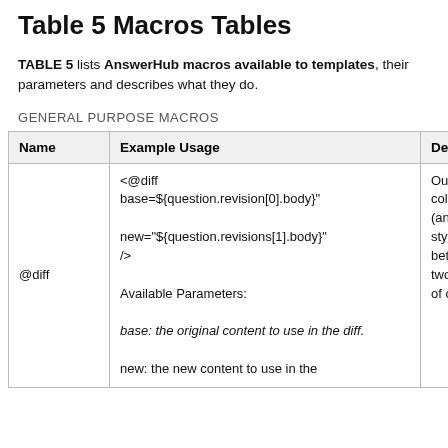Table 5 Macros Tables
TABLE 5 lists AnswerHub macros available to templates, their parameters and describes what they do.
GENERAL PURPOSE MACROS
| Name | Example Usage | Des |
| --- | --- | --- |
| @diff | <@diff base=${question.revision[0].body}"

new="${question.revisions[1].body}"
/>

Available Parameters:

base: the original content to use in the diff.

new: the new content to use in the | Outp colo (anc style betv two of co |